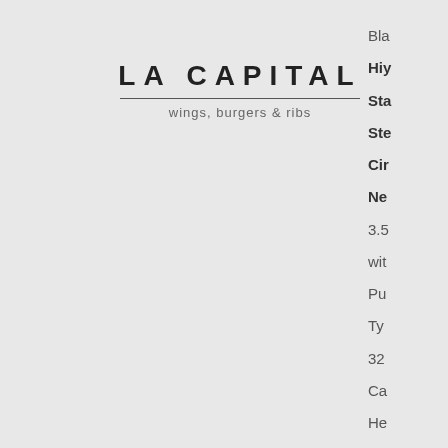[Figure (logo): La Capital logo - wings, burgers & ribs restaurant logo with bold spaced lettering and horizontal rule]
Bla
Hiy
Sta
Ste
Cir
Ne
3.5
wit
Pu
Ty
32
Ca
He
Inc
Ste
Tru
Ye
W